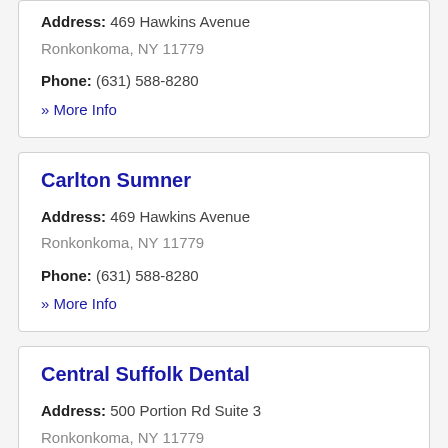Address: 469 Hawkins Avenue
Ronkonkoma, NY 11779
Phone: (631) 588-8280
» More Info
Carlton Sumner
Address: 469 Hawkins Avenue
Ronkonkoma, NY 11779
Phone: (631) 588-8280
» More Info
Central Suffolk Dental
Address: 500 Portion Rd Suite 3
Ronkonkoma, NY 11779